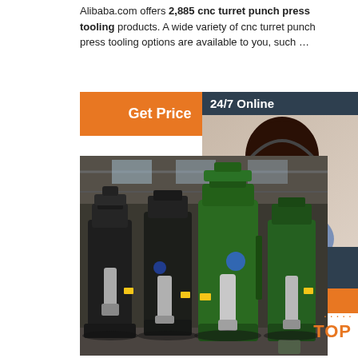Alibaba.com offers 2,885 cnc turret punch press tooling products. A wide variety of cnc turret punch press tooling options are available to you, such ...
[Figure (other): Orange 'Get Price' button]
[Figure (other): 24/7 Online chat box with customer service representative photo, 'Click here for free chat!' text, and orange QUOTATION button]
[Figure (photo): Industrial CNC turret punch press machines in green and black in a factory setting]
[Figure (other): Orange TOP badge with decorative dots in bottom right corner]